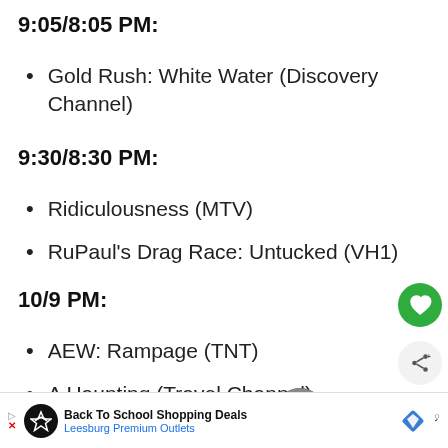9:05/8:05 PM:
Gold Rush: White Water (Discovery Channel)
9:30/8:30 PM:
Ridiculousness (MTV)
RuPaul's Drag Race: Untucked (VH1)
10/9 PM:
AEW: Rampage (TNT)
A Haunting (Travel Channel)
Back To School Shopping Deals
Leesburg Premium Outlets